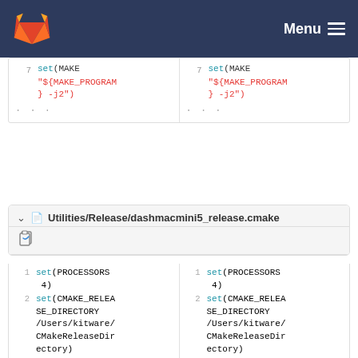Menu
[Figure (screenshot): GitLab navigation bar with logo and Menu button on dark blue background]
set(MAKE "${MAKE_PROGRAM} -j2") ... set(MAKE "${MAKE_PROGRAM} -j2") ...
Utilities/Release/dashmacmini5_release.cmake
1 set(PROCESSORS 4) 2 set(CMAKE_RELEASE_DIRECTORY /Users/kitware/CMakeReleaseDirectory) 3 # set(USER_OVERRIDE "set(CMAKE_CXX_LINK_EXECUTABLE \"gcc (same on right side)